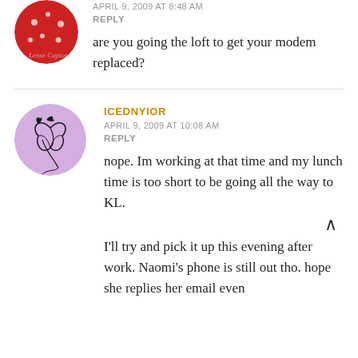[Figure (photo): Circular avatar image showing a red polka-dot object (partially cropped at top)]
APRIL 9, 2009 AT 8:48 AM
REPLY
are you going the loft to get your modem replaced?
[Figure (photo): Circular lavender/purple avatar with black butterfly/floral illustration]
ICEDNYIOR
APRIL 9, 2009 AT 10:08 AM
REPLY
nope. Im working at that time and my lunch time is too short to be going all the way to KL.

I'll try and pick it up this evening after work. Naomi's phone is still out tho. hope she replies her email even